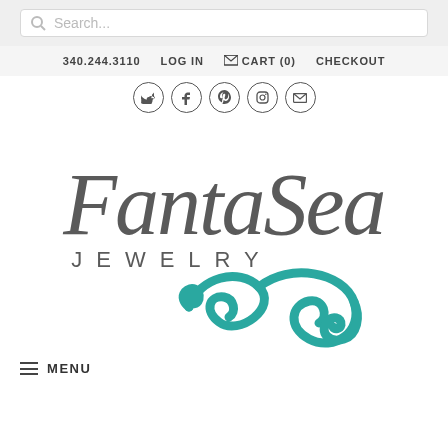Search...
340.244.3110  LOG IN  CART (0)  CHECKOUT
[Figure (logo): FantaSea Jewelry logo with decorative script lettering and teal wave/scroll design]
MENU